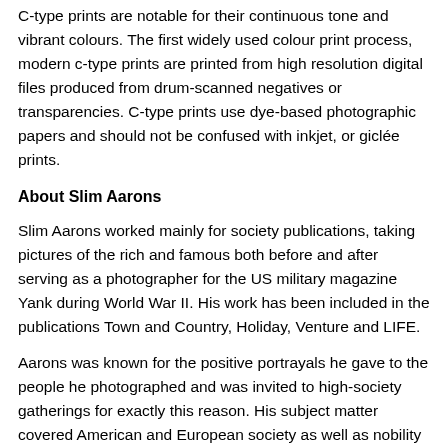C-type prints are notable for their continuous tone and vibrant colours. The first widely used colour print process, modern c-type prints are printed from high resolution digital files produced from drum-scanned negatives or transparencies. C-type prints use dye-based photographic papers and should not be confused with inkjet, or giclée prints.
About Slim Aarons
Slim Aarons worked mainly for society publications, taking pictures of the rich and famous both before and after serving as a photographer for the US military magazine Yank during World War II. His work has been included in the publications Town and Country, Holiday, Venture and LIFE.
Aarons was known for the positive portrayals he gave to the people he photographed and was invited to high-society gatherings for exactly this reason. His subject matter covered American and European society as well as nobility and both minor and major stars of the day.